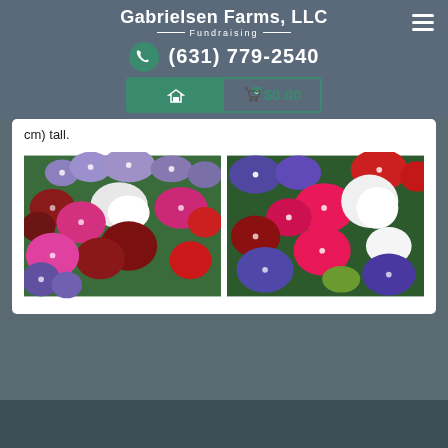Gabrielsen Farms, LLC — Fundraising
(631) 779-2540
$0.00
cm) tall.
[Figure (photo): Two photos of colorful verbena flowers in mixed pink, red, white, purple, and magenta blooms arranged side by side.]